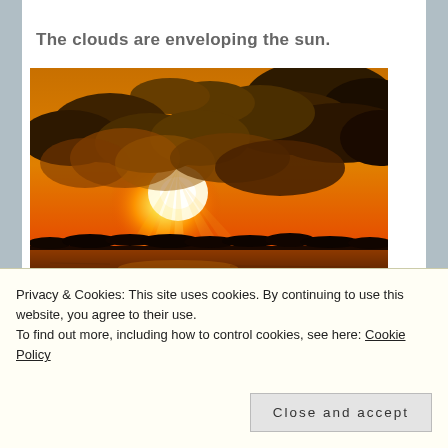The clouds are enveloping the sun.
[Figure (photo): Sunset photo showing dramatic clouds enveloping the sun over a body of water, with an orange and golden sky and dark silhouette of land/trees on the horizon]
Privacy & Cookies: This site uses cookies. By continuing to use this website, you agree to their use.
To find out more, including how to control cookies, see here: Cookie Policy
Close and accept